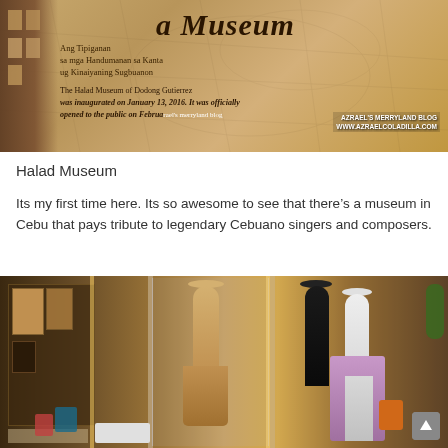[Figure (photo): Photo of the Halad Museum sign/wall. Shows the museum name in large italic text, with text in Cebuano language 'Ang Tipiganan sa mga Handumanan sa Kanta ug Kinaiyangong Sugbuanon' and a description in English about the Halad Museum of Dodong Gutierrez being inaugurated on January 13, 2016. A watermark reads 'AZRAEL'S MERRYLAND BLOG WWW.AZRAELCOLADILLA.COM'. A building is partially visible on the left.]
Halad Museum
Its my first time here. Its so awesome to see that there's a museum in Cebu that pays tribute to legendary Cebuano singers and composers.
[Figure (photo): Interior photo of the Halad Museum showing display cases and mannequins dressed in costumes. The left side shows illuminated display cases with various artifacts. The center shows a mannequin in a formal dress behind a glass panel. The right side shows mannequins displaying formal attire including a black suit and a white barong. A lavender/purple long skirt is visible on the right mannequin.]